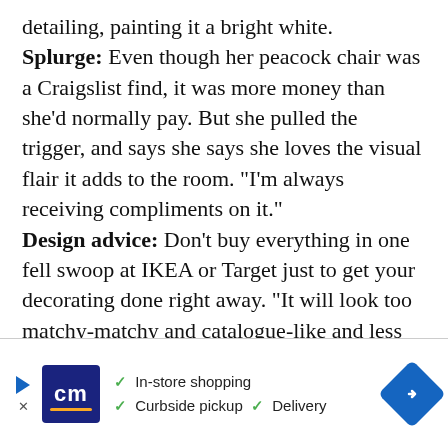detailing, painting it a bright white. Splurge: Even though her peacock chair was a Craigslist find, it was more money than she'd normally pay. But she pulled the trigger, and says she says she loves the visual flair it adds to the room. “I’m always receiving compliments on it.” Design advice: Don’t buy everything in one fell swoop at IKEA or Target just to get your decorating done right away. “It will look too matchy-matchy and catalogue-like and less like a home,” says Sarah, advocating for the Craigslist and thrift store route. And, if you
[Figure (other): Advertisement banner for CM (CarMax or similar) showing logo, checkmarks for In-store shopping, Curbside pickup, Delivery, and a blue diamond navigation icon.]